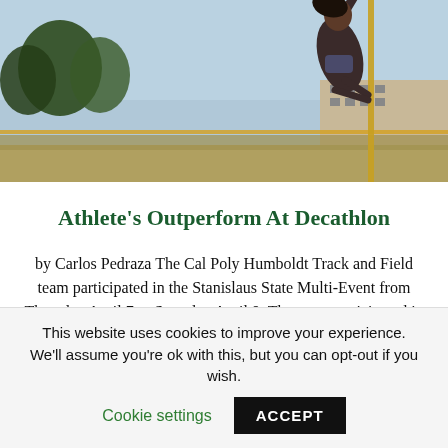[Figure (photo): Athlete performing a pole vault, body inverted at the top of the vault against a light blue sky with trees and a building in the background.]
Athlete’s Outperform At Decathlon
by Carlos Pedraza The Cal Poly Humboldt Track and Field team participated in the Stanislaus State Multi-Event from Thursday April 7 to Saturday April 9. The team participated in over 10 different events, all of
This website uses cookies to improve your experience. We’ll assume you’re ok with this, but you can opt-out if you wish. Cookie settings ACCEPT